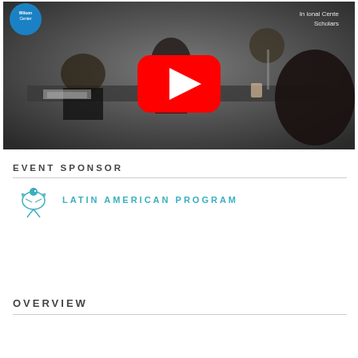[Figure (photo): Screenshot of a YouTube video showing a conference panel meeting with people seated around a table. A Wilson Center logo is visible top left, and 'International Center for Scholars' text appears top right. A large red YouTube play button overlay is centered on the image.]
EVENT SPONSOR
[Figure (logo): Latin American Program logo: a small teal/cyan decorative bird or map icon followed by the text 'LATIN AMERICAN PROGRAM' in teal uppercase letters with wide letter spacing.]
OVERVIEW